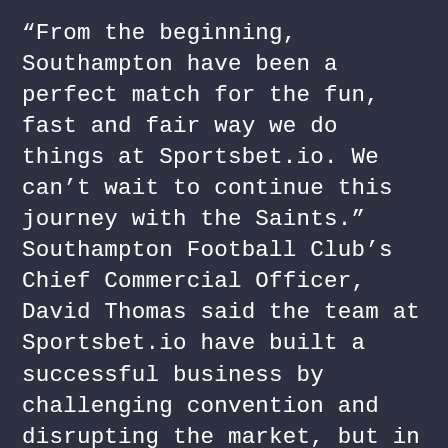“From the beginning, Southampton have been a perfect match for the fun, fast and fair way we do things at Sportsbet.io. We can’t wait to continue this journey with the Saints.” Southampton Football Club’s Chief Commercial Officer, David Thomas said the team at Sportsbet.io have built a successful business by challenging convention and disrupting the market, but in a responsible way, and their approach to our partnership with them has been no different. “In a short timeframe, they’ve proven to be innovative, forward-thinking and extremely supportive of the club, our fans and the wider community, and we’ve welcomed the opportunity to